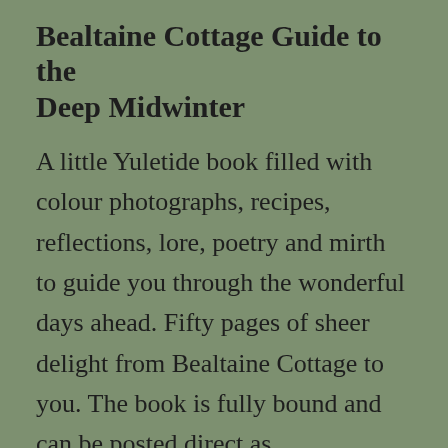Bealtaine Cottage Guide to the Deep Midwinter
A little Yuletide book filled with colour photographs, recipes, reflections, lore, poetry and mirth to guide you through the wonderful days ahead. Fifty pages of sheer delight from Bealtaine Cottage to you. The book is fully bound and can be posted direct as